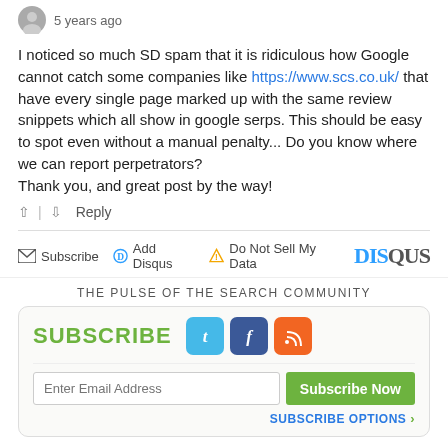[Figure (illustration): Gray avatar circle with '5 years ago' timestamp text to the right]
I noticed so much SD spam that it is ridiculous how Google cannot catch some companies like https://www.scs.co.uk/ that have every single page marked up with the same review snippets which all show in google serps. This should be easy to spot even without a manual penalty... Do you know where we can report perpetrators?
Thank you, and great post by the way!
↑ | ↓  Reply
[Figure (infographic): Disqus footer bar with Subscribe, Add Disqus, Do Not Sell My Data links and DISQUS logo]
THE PULSE OF THE SEARCH COMMUNITY
[Figure (infographic): Subscribe box with SUBSCRIBE label, Twitter, Facebook, RSS icons, email input field, Subscribe Now button, and SUBSCRIBE OPTIONS link]